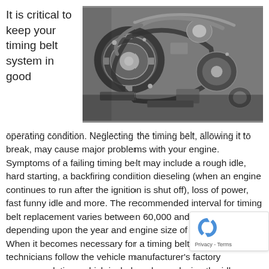It is critical to keep your timing belt system in good
[Figure (photo): Close-up photograph of a car engine timing belt system showing gears, belt, pulleys, and engine components]
operating condition. Neglecting the timing belt, allowing it to break, may cause major problems with your engine. Symptoms of a failing timing belt may include a rough idle, hard starting, a backfiring condition dieseling (when an engine continues to run after the ignition is shut off), loss of power, fast funny idle and more. The recommended interval for timing belt replacement varies between 60,000 and 120,000 miles depending upon the year and engine size of the vehicle. When it becomes necessary for a timing belt replacement our technicians follow the vehicle manufacturer's factory recommendations which includes also replacing the idler tensioner roller, water pump, thermostat, and accessory belt. Timing belt replacement due to normal wear is
[Figure (logo): reCAPTCHA badge with Privacy and Terms links]